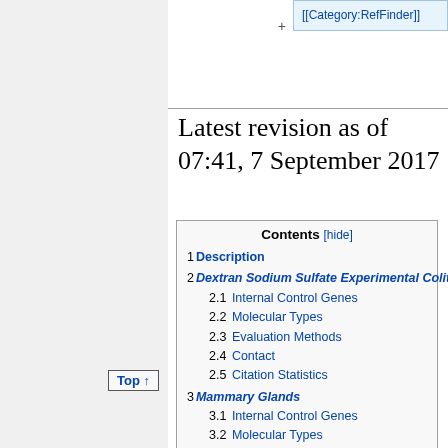[[Category:RefFinder]]
Latest revision as of 07:41, 7 September 2017
1 Description
2 Dextran Sodium Sulfate Experimental Colitis
2.1 Internal Control Genes
2.2 Molecular Types
2.3 Evaluation Methods
2.4 Contact
2.5 Citation Statistics
3 Mammary Glands
3.1 Internal Control Genes
3.2 Molecular Types
3.3 Evaluation Methods
3.4 Contact
Top ↑